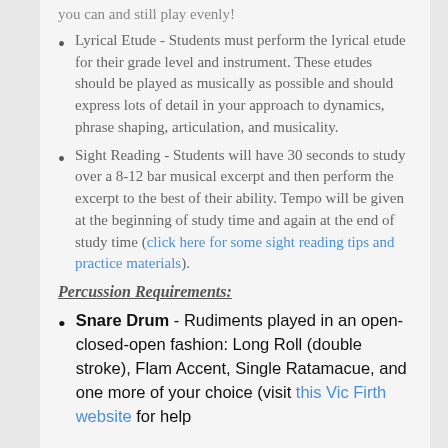you can and still play evenly!
Lyrical Etude - Students must perform the lyrical etude for their grade level and instrument. These etudes should be played as musically as possible and should express lots of detail in your approach to dynamics, phrase shaping, articulation, and musicality.
Sight Reading - Students will have 30 seconds to study over a 8-12 bar musical excerpt and then perform the excerpt to the best of their ability. Tempo will be given at the beginning of study time and again at the end of study time (click here for some sight reading tips and practice materials).
Percussion Requirements:
Snare Drum - Rudiments played in an open-closed-open fashion: Long Roll (double stroke), Flam Accent, Single Ratamacue, and one more of your choice (visit this Vic Firth website for help with rudiments and to hear how they should be played).